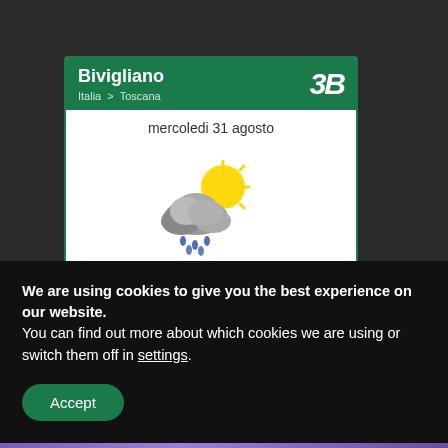[Figure (screenshot): Weather widget for Bivigliano, Italia > Toscana showing Wednesday 31 August forecast: scattered clouds with sunny spells icon (sun behind clouds with rain drops), Nubi sparse e schiarite, T min.15.8°C - T max.25.5°C, Venti 4.9 nodi OSO, Probabilità di pioggia 60%. Footer shows stampa PDF and 3BMeteo.com. Header has 3B logo.]
We are using cookies to give you the best experience on our website.
You can find out more about which cookies we are using or switch them off in settings.
Accept